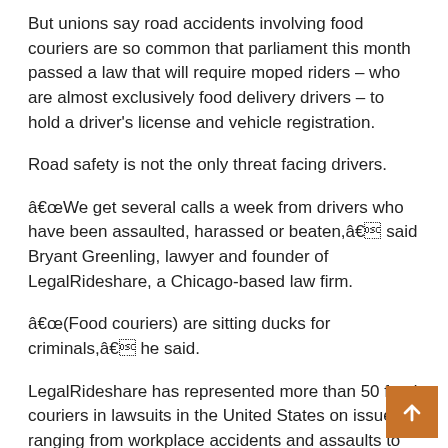But unions say road accidents involving food couriers are so common that parliament this month passed a law that will require moped riders – who are almost exclusively food delivery drivers – to hold a driver's license and vehicle registration.
Road safety is not the only threat facing drivers.
“We get several calls a week from drivers who have been assaulted, harassed or beaten,” said Bryant Greenling, lawyer and founder of LegalRideshare, a Chicago-based law firm.
“(Food couriers) are sitting ducks for criminals,” he said.
LegalRideshare has represented more than 50 food couriers in lawsuits in the United States on issues ranging from workplace accidents and assaults to driver account deactivations, Greenling added.